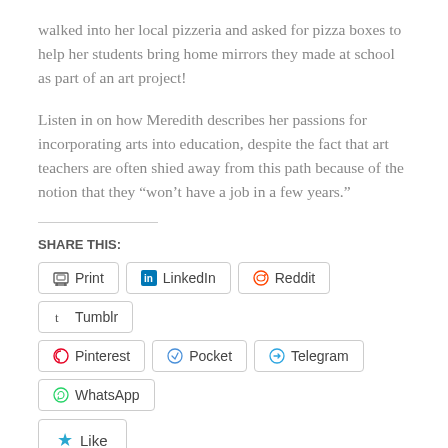walked into her local pizzeria and asked for pizza boxes to help her students bring home mirrors they made at school as part of an art project!
Listen in on how Meredith describes her passions for incorporating arts into education, despite the fact that art teachers are often shied away from this path because of the notion that they “won’t have a job in a few years.”
SHARE THIS:
[Figure (other): Social share buttons: Print, LinkedIn, Reddit, Tumblr, Pinterest, Pocket, Telegram, WhatsApp]
[Figure (other): Like button with star icon]
Be the first to like this.